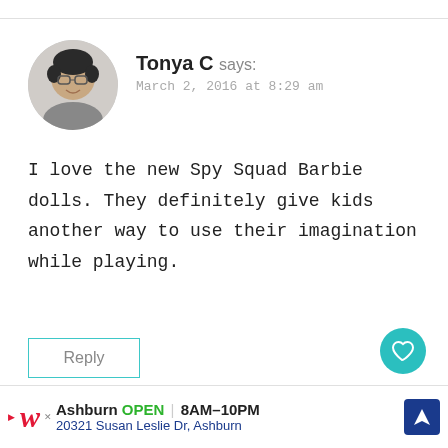Tonya C says: March 2, 2016 at 8:29 am
I love the new Spy Squad Barbie dolls. They definitely give kids another way to use their imagination while playing.
Reply
Amanda says: March 2, 2016 at 10:09 am
[Figure (infographic): Ad banner: Walgreens logo, Ashburn OPEN 8AM-10PM, 20321 Susan Leslie Dr, Ashburn, navigation arrow icon, and mute icon on dark background]